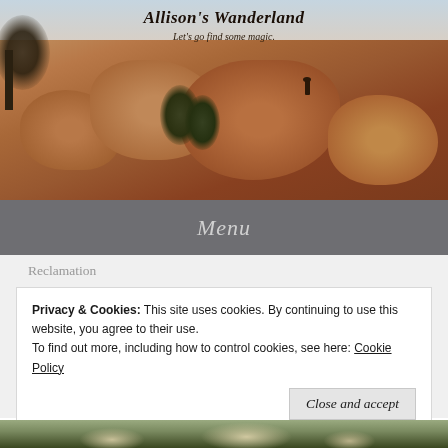[Figure (photo): Landscape photo of Joshua Tree / desert rock formations with warm orange and brown boulders, a person standing on top of the rocks, Joshua trees visible, pastel sky in the background]
Allison's Wanderland
Let's go find some magic.
Menu
Reclamation
Privacy & Cookies: This site uses cookies. By continuing to use this website, you agree to their use.
To find out more, including how to control cookies, see here: Cookie Policy
Close and accept
[Figure (photo): Partial bottom strip showing a forested/nature scene]